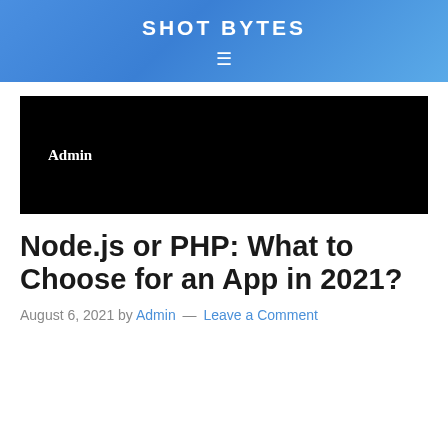SHOT BYTES
[Figure (screenshot): Black featured image banner with white bold text 'Admin' in a serif font on the left side]
Node.js or PHP: What to Choose for an App in 2021?
August 6, 2021 by Admin — Leave a Comment